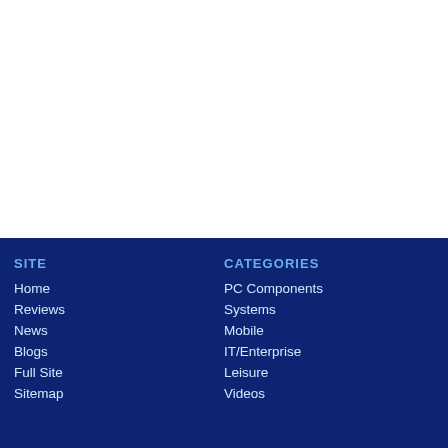SITE
Home
Reviews
News
Blogs
Full Site
Sitemap
CATEGORIES
PC Components
Systems
Mobile
IT/Enterprise
Leisure
Videos